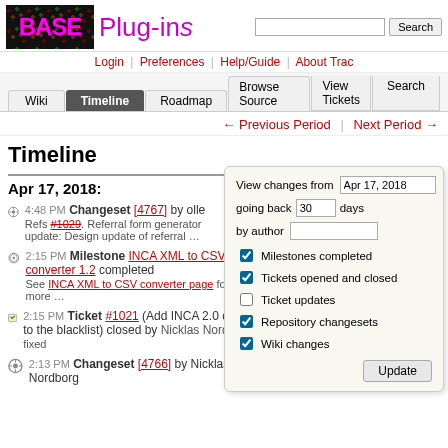BASE Plug-ins
Login | Preferences | Help/Guide | About Trac
Wiki | Timeline | Roadmap | Browse Source | View Tickets | Search
← Previous Period | Next Period →
Timeline
Apr 17, 2018:
4:48 PM Changeset [4767] by olle
Refs #1029. Referral form generator update: Design update of referral …
2:15 PM Milestone INCA XML to CSV converter 1.2 completed
See INCA XML to CSV converter page for more …
2:15 PM Ticket #1021 (Add INCA 2.0 columns to the blacklist) closed by Nicklas Nordborg
fixed
2:13 PM Changeset [4766] by Nicklas Nordborg
View changes from Apr 17, 2018
going back 30 days
by author
☑ Milestones completed
☑ Tickets opened and closed
☐ Ticket updates
☑ Repository changesets
☑ Wiki changes
Update